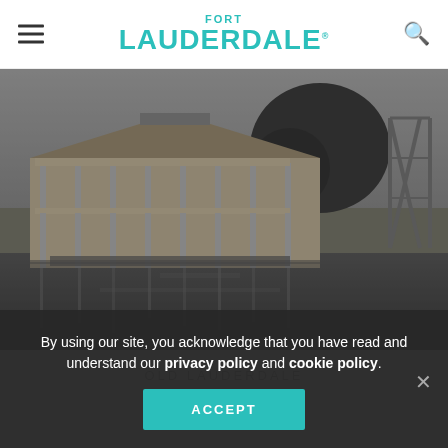FORT LAUDERDALE
[Figure (photo): Black and white historical photograph of an old two-story building with wrap-around porches and columns, situated on a waterfront with trees and a steel structure visible on the right, and reflections in the water below.]
OLD LAUDERDALE
By using our site, you acknowledge that you have read and understand our privacy policy and cookie policy.
ACCEPT